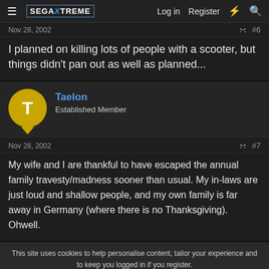SegaXtreme — Log in  Register
Nov 28, 2002  #6
I planned on killing lots of people with a scooter, but things didn't pan out as well as planned...
Taelon
Established Member
Nov 28, 2002  #7
My wife and I are thankful to have escaped the annual family travesty/madness sooner than usual. My in-laws are just loud and shallow people, and my own family is far away in Germany (where there is no Thanksgiving). Ohwell.
This site uses cookies to help personalise content, tailor your experience and to keep you logged in if you register.
By continuing to use this site, you are consenting to our use of cookies.